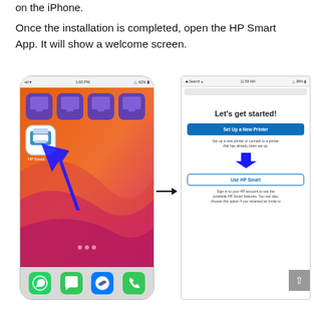on the iPhone.
Once the installation is completed, open the HP Smart App. It will show a welcome screen.
[Figure (screenshot): Two iPhone screenshots side by side with a right-pointing arrow between them. Left screenshot shows the iPhone home screen with orange/red wallpaper, four purple app tiles at the top, and the HP Smart app icon with a blue arrow pointing to it. Right screenshot shows the HP Smart app welcome screen with 'Let's get started!' heading, a blue 'Set Up a New Printer' button, description text, a 'Use HP Smart' button with a blue downward arrow, and sign-in description text. A scroll-to-top button appears at the bottom right.]